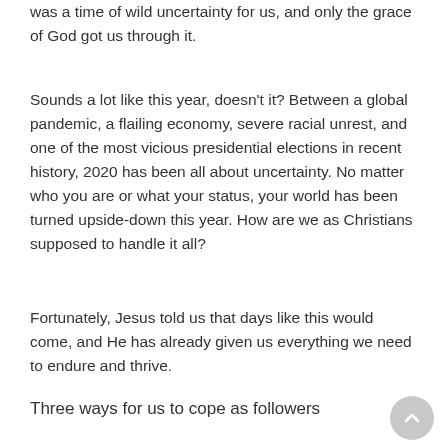was a time of wild uncertainty for us, and only the grace of God got us through it.
Sounds a lot like this year, doesn't it? Between a global pandemic, a flailing economy, severe racial unrest, and one of the most vicious presidential elections in recent history, 2020 has been all about uncertainty. No matter who you are or what your status, your world has been turned upside-down this year. How are we as Christians supposed to handle it all?
Fortunately, Jesus told us that days like this would come, and He has already given us everything we need to endure and thrive.
Three ways for us to cope as followers of Christ